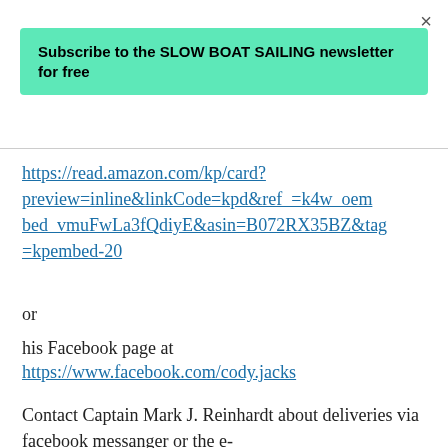×
Subscribe to the SLOW BOAT SAILING newsletter for free
https://read.amazon.com/kp/card?preview=inline&linkCode=kpd&ref_=k4w_oembed_vmuFwLa3fQdiyE&asin=B072RX35BZ&tag=kpembed-20
or
his Facebook page at
https://www.facebook.com/cody.jacks
Contact Captain Mark J. Reinhardt about deliveries via facebook messanger or the e-